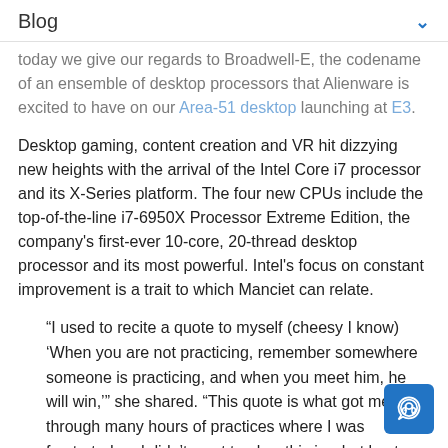Blog
today we give our regards to Broadwell-E, the codename of an ensemble of desktop processors that Alienware is excited to have on our Area-51 desktop launching at E3.
Desktop gaming, content creation and VR hit dizzying new heights with the arrival of the Intel Core i7 processor and its X-Series platform. The four new CPUs include the top-of-the-line i7-6950X Processor Extreme Edition, the company's first-ever 10-core, 20-thread desktop processor and its most powerful. Intel's focus on constant improvement is a trait to which Manciet can relate.
“I used to recite a quote to myself (cheesy I know) ‘When you are not practicing, remember somewhere someone is practicing, and when you meet him, he will win,’” she shared. “This quote is what got me through many hours of practices where I was frustrated and didn’t want to play, this is what kept me going.”